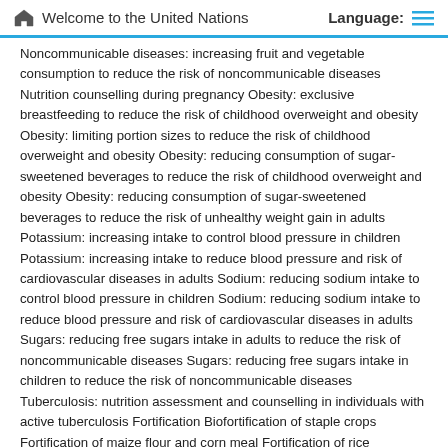Welcome to the United Nations   Language:
Noncommunicable diseases: increasing fruit and vegetable consumption to reduce the risk of noncommunicable diseases Nutrition counselling during pregnancy Obesity: exclusive breastfeeding to reduce the risk of childhood overweight and obesity Obesity: limiting portion sizes to reduce the risk of childhood overweight and obesity Obesity: reducing consumption of sugar-sweetened beverages to reduce the risk of childhood overweight and obesity Obesity: reducing consumption of sugar-sweetened beverages to reduce the risk of unhealthy weight gain in adults Potassium: increasing intake to control blood pressure in children Potassium: increasing intake to reduce blood pressure and risk of cardiovascular diseases in adults Sodium: reducing sodium intake to control blood pressure in children Sodium: reducing sodium intake to reduce blood pressure and risk of cardiovascular diseases in adults Sugars: reducing free sugars intake in adults to reduce the risk of noncommunicable diseases Sugars: reducing free sugars intake in children to reduce the risk of noncommunicable diseases Tuberculosis: nutrition assessment and counselling in individuals with active tuberculosis Fortification Biofortification of staple crops Fortification of maize flour and corn meal Fortification of rice Fortification of wheat flour Iodization of salt for the prevention and control of iodine deficiency disorders Multiple micronutrient powders for point-of-use fortification of foods consumed by children 2-12 years of age Multiple micronutrient powders for point-of-use fortification of foods consumed by children 6–23 months of age Multiple micronutrient powders for point-of-use